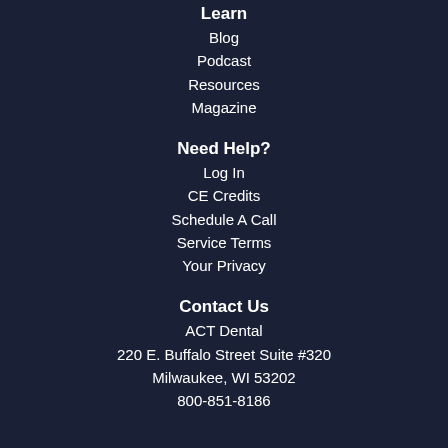Learn
Blog
Podcast
Resources
Magazine
Need Help?
Log In
CE Credits
Schedule A Call
Service Terms
Your Privacy
Contact Us
ACT Dental
220 E. Buffalo Street Suite #320
Milwaukee, WI 53202
800-851-8186